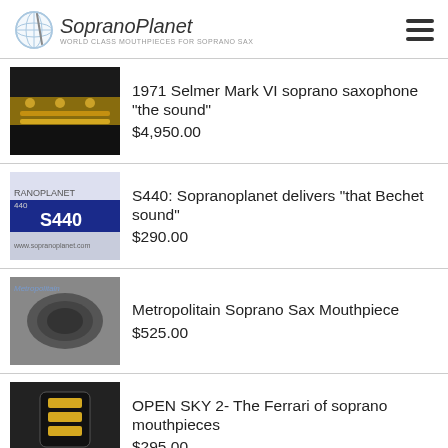SopranoPlanet — WORLD CLASS MOUTHPIECES FOR SOPRANO SAX
1971 Selmer Mark VI soprano saxophone "the sound" — $4,950.00
S440: Sopranoplanet delivers "that Bechet sound" — $290.00
Metropolitain Soprano Sax Mouthpiece — $525.00
OPEN SKY 2- The Ferrari of soprano mouthpieces — $295.00
BUESCHER C soprano mouthpieces- original blank ! SOLD